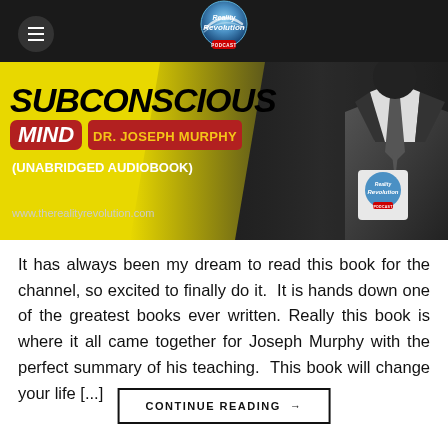Reality Revolution Podcast
[Figure (illustration): Promotional banner image for audiobook 'Subconscious Mind' by Dr. Joseph Murphy (Unabridged Audiobook) with yellow and dark background, www.therealityrevolution.com]
It has always been my dream to read this book for the channel, so excited to finally do it.  It is hands down one of the greatest books ever written. Really this book is where it all came together for Joseph Murphy with the perfect summary of his teaching.  This book will change your life [...]
CONTINUE READING →